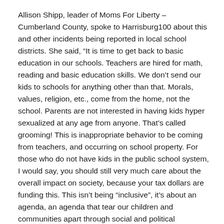Allison Shipp, leader of Moms For Liberty – Cumberland County, spoke to Harrisburg100 about this and other incidents being reported in local school districts. She said, “It is time to get back to basic education in our schools. Teachers are hired for math, reading and basic education skills. We don’t send our kids to schools for anything other than that. Morals, values, religion, etc., come from the home, not the school. Parents are not interested in having kids hyper sexualized at any age from anyone. That’s called grooming! This is inappropriate behavior to be coming from teachers, and occurring on school property. For those who do not have kids in the public school system, I would say, you should still very much care about the overall impact on society, because your tax dollars are funding this. This isn’t being “inclusive”, it’s about an agenda, an agenda that tear our children and communities apart through social and political programming. What we at Moms for Liberty are doing is holding those in charge accountable, educating our